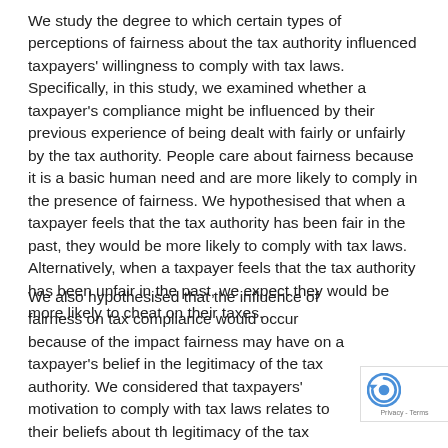We study the degree to which certain types of perceptions of fairness about the tax authority influenced taxpayers' willingness to comply with tax laws. Specifically, in this study, we examined whether a taxpayer's compliance might be influenced by their previous experience of being dealt with fairly or unfairly by the tax authority. People care about fairness because it is a basic human need and are more likely to comply in the presence of fairness. We hypothesised that when a taxpayer feels that the tax authority has been fair in the past, they would be more likely to comply with tax laws. Alternatively, when a taxpayer feels that the tax authority has been unfair in the past, we expect they would be more likely to cheat on their taxes.
We also hypothesised that the influence of fairness on tax compliance would occur because of the impact fairness may have on a taxpayer's belief in the legitimacy of the tax authority. We considered that taxpayers' motivation to comply with tax laws relates to their beliefs about the legitimacy of the tax authority (in other words, a belief that